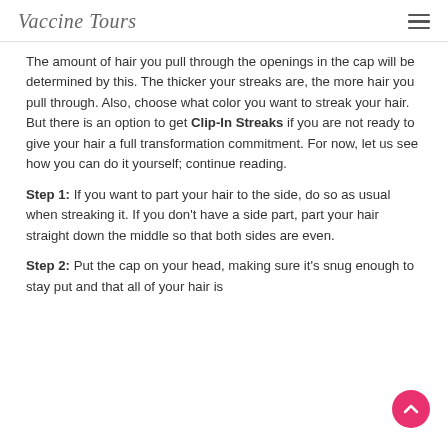Vaccine Tours
The amount of hair you pull through the openings in the cap will be determined by this. The thicker your streaks are, the more hair you pull through. Also, choose what color you want to streak your hair. But there is an option to get Clip-In Streaks if you are not ready to give your hair a full transformation commitment. For now, let us see how you can do it yourself; continue reading.
Step 1: If you want to part your hair to the side, do so as usual when streaking it. If you don't have a side part, part your hair straight down the middle so that both sides are even.
Step 2: Put the cap on your head, making sure it's snug enough to stay put and that all of your hair is